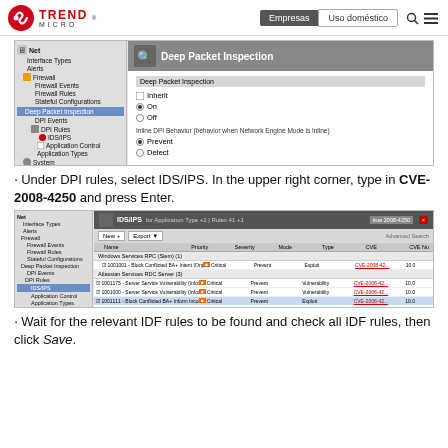Trend Micro — Empresas | Uso doméstico
[Figure (screenshot): Screenshot of Deep Security Manager showing Deep Packet Inspection settings panel with navigation tree on left and DPI configuration options (Inherit, On, Off) and Inline DPI Behavior (Prevent, Detect) on the right.]
Under DPI rules, select IDS/IPS. In the upper right corner, type in CVE-2008-4250 and press Enter.
[Figure (screenshot): Screenshot of IDS/IPS rules panel in Deep Security Manager showing search results for CVE-2008-4250 with multiple rules listed including priority, severity, mode, type, CVE columns.]
Wait for the relevant IDF rules to be found and check all IDF rules, then click Save.